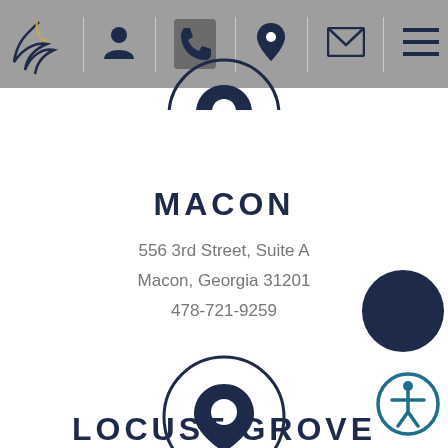[Figure (screenshot): Navigation bar with logo (wing/feather icon), person icon, phone icon, map pin icon, envelope icon, and hamburger menu icon on grey background]
[Figure (illustration): Map pin location icon inside a circle, partially visible at top of content area]
MACON
556 3rd Street, Suite A
Macon, Georgia 31201
478-721-9259
[Figure (illustration): Map pin location icon inside a circle, dark navy color]
LOCUST GROVE